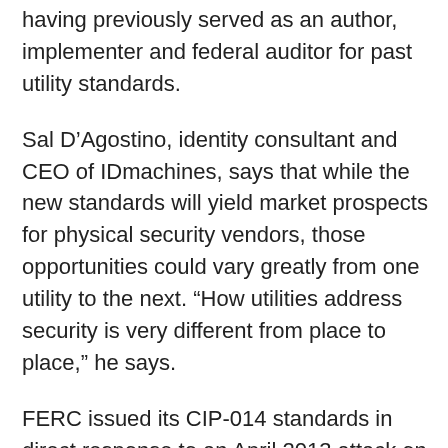having previously served as an author, implementer and federal auditor for past utility standards.
Sal D'Agostino, identity consultant and CEO of IDmachines, says that while the new standards will yield market prospects for physical security vendors, those opportunities could vary greatly from one utility to the next. “How utilities address security is very different from place to place,” he says.
FERC issued its CIP-014 standards in direct response to an April 2013 attack on the Metcalf electric